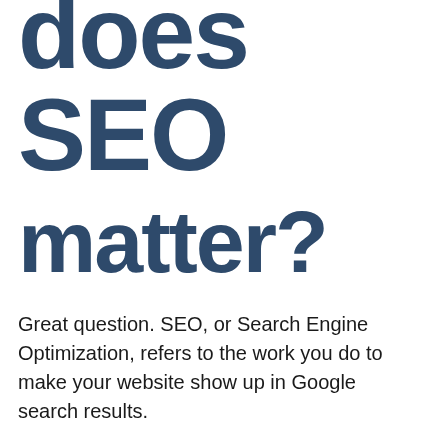does SEO matter?
Great question. SEO, or Search Engine Optimization, refers to the work you do to make your website show up in Google search results.